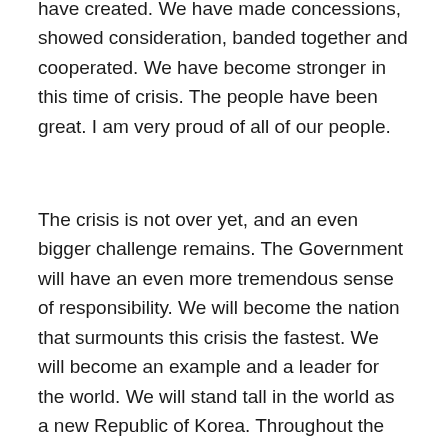have created. We have made concessions, showed consideration, banded together and cooperated. We have become stronger in this time of crisis. The people have been great. I am very proud of all of our people.
The crisis is not over yet, and an even bigger challenge remains. The Government will have an even more tremendous sense of responsibility. We will become the nation that surmounts this crisis the fastest. We will become an example and a leader for the world. We will stand tall in the world as a new Republic of Korea. Throughout the remainder of my term, I will move forward fearlessly together with our great people.